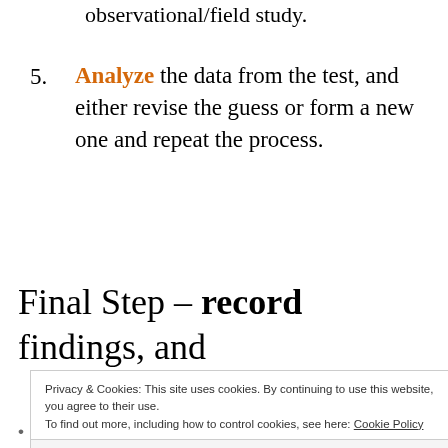observational/field study.
5. Analyze the data from the test, and either revise the guess or form a new one and repeat the process.
Final Step – record findings, and
Privacy & Cookies: This site uses cookies. By continuing to use this website, you agree to their use.
To find out more, including how to control cookies, see here: Cookie Policy
Close and accept
Have peers with experience researching the